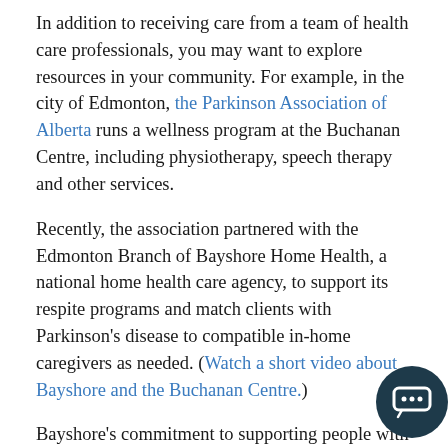In addition to receiving care from a team of health care professionals, you may want to explore resources in your community. For example, in the city of Edmonton, the Parkinson Association of Alberta runs a wellness program at the Buchanan Centre, including physiotherapy, speech therapy and other services.
Recently, the association partnered with the Edmonton Branch of Bayshore Home Health, a national home health care agency, to support its respite programs and match clients with Parkinson's disease to compatible in-home caregivers as needed. (Watch a short video about Bayshore and the Buchanan Centre.)
Bayshore's commitment to supporting people with Parkinson's disease extends beyond the centre as well. The Edmonton Branch is holding a series of fundraisers for the association, including events in Edmonton, Red Deer, Grande Prairie and Lloydminster.
[Figure (other): Chat bubble icon button in dark teal/navy circle at bottom right corner]